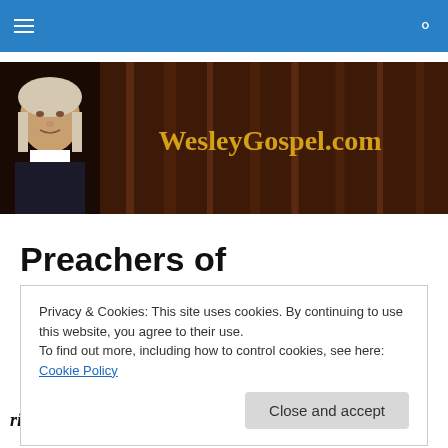Navigation bar with hamburger menu and search icon
[Figure (illustration): WesleyGospel.com website banner with portrait of John Wesley on left and golden gothic-style text 'WesleyGospel.com' on dark brown background with bookshelves]
Preachers of Righteousness
He did not spare the ancient world when He brought the flood on its ungodly people, but protected Noah, a
Privacy & Cookies: This site uses cookies. By continuing to use this website, you agree to their use.
To find out more, including how to control cookies, see here: Cookie Policy
righteousness, Sodom and the country also, and that